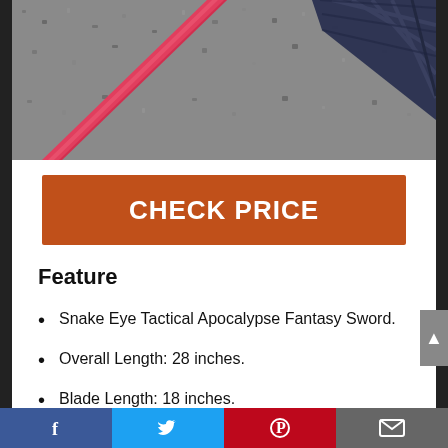[Figure (photo): Photo of a pink/red sword blade and dark navy handle/sheath on a gravel/asphalt surface]
CHECK PRICE
Feature
Snake Eye Tactical Apocalypse Fantasy Sword.
Overall Length: 28 inches.
Blade Length: 18 inches.
Blade Material: 440 Stainless Steel,
Facebook | Twitter | Pinterest | Email